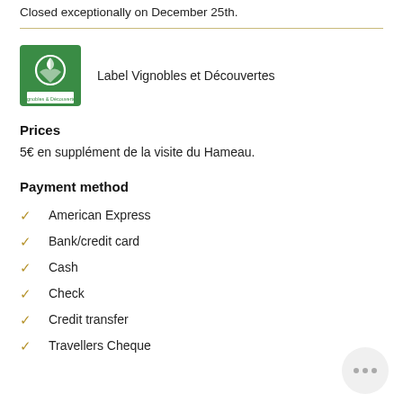Closed exceptionally on December 25th.
[Figure (logo): Label Vignobles et Découvertes green logo badge]
Label Vignobles et Découvertes
Prices
5€ en supplément de la visite du Hameau.
Payment method
American Express
Bank/credit card
Cash
Check
Credit transfer
Travellers Cheque